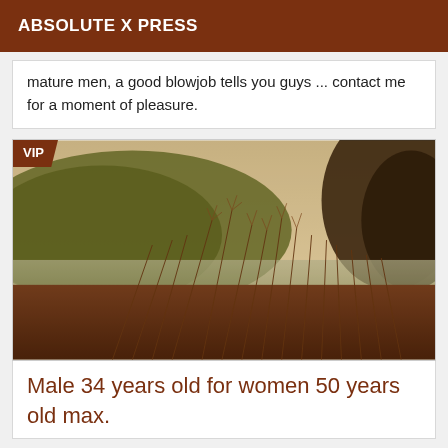ABSOLUTE X PRESS
mature men, a good blowjob tells you guys ... contact me for a moment of pleasure.
[Figure (photo): Vintage-filtered outdoor landscape photo showing tall dry grass/weeds in the foreground with a river or lake and green hills in the background, tree on the right side. Warm sepia/brown tones. VIP badge in top left corner.]
Male 34 years old for women 50 years old max.